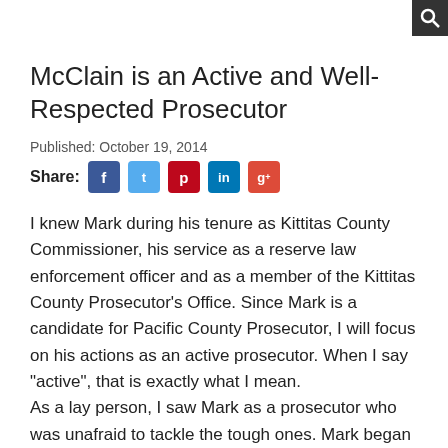McClain is an Active and Well-Respected Prosecutor
Published: October 19, 2014
Share: [Facebook] [Twitter] [Pinterest] [LinkedIn] [Google+]
I knew Mark during his tenure as Kittitas County Commissioner, his service as a reserve law enforcement officer and as a member of the Kittitas County Prosecutor's Office. Since Mark is a candidate for Pacific County Prosecutor, I will focus on his actions as an active prosecutor. When I say "active", that is exactly what I mean.
As a lay person, I saw Mark as a prosecutor who was unafraid to tackle the tough ones. Mark began work in the Kittitas County Prosecutor's Office by prosecuting misdemeanor and gross misdemeanor cases. His energy